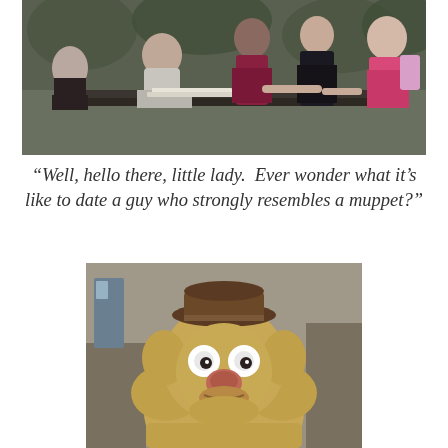[Figure (photo): A group of people outdoors around a table, one person appears to be signing something or writing, others standing around looking on. Foliage visible in background.]
“Well, hello there, little lady.  Ever wonder what it’s like to date a guy who strongly resembles a muppet?”
[Figure (photo): Close-up of Fozzie Bear muppet wearing a brown hat, looking at camera with wide eyes and a subtle expression.]